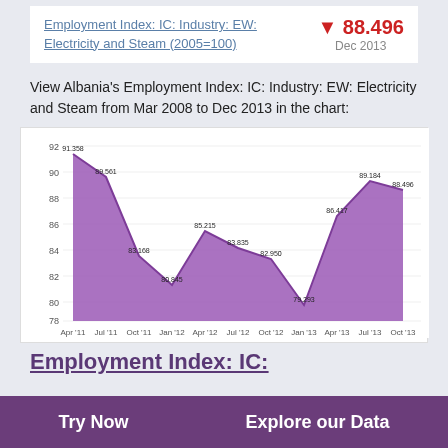Employment Index: IC: Industry: EW: Electricity and Steam (2005=100)
▼ 88.496
Dec 2013
View Albania's Employment Index: IC: Industry: EW: Electricity and Steam from Mar 2008 to Dec 2013 in the chart:
[Figure (area-chart): Employment Index: IC: Industry: EW: Electricity and Steam]
Employment Index: IC:
Try Now
Explore our Data